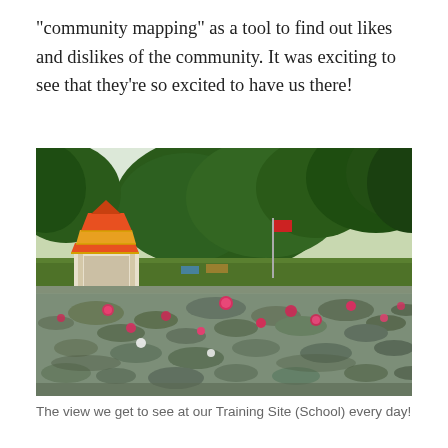“community mapping” as a tool to find out likes and dislikes of the community. It was exciting to see that they’re so excited to have us there!
[Figure (photo): A scenic view of a pond covered with lily pads and pink lotus flowers. In the background there is a traditional Thai-style pavilion/shrine on the left, large green trees in the center and right, a flagpole, and green grass under a bright sky.]
The view we get to see at our Training Site (School) every day!